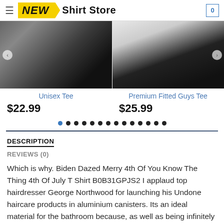NEW Shirt Store
[Figure (photo): Two product photos side by side: left shows a person wearing a black unisex tee, right shows a person wearing a black premium fitted guys tee]
Unisex Tee
$22.99
Premium Fitted Guys Tee
$25.99
DESCRIPTION
REVIEWS (0)
Which is why. Biden Dazed Merry 4th Of You Know The Thing 4th Of July T Shirt B0B31GPJS2 I applaud top hairdresser George Northwood for launching his Undone haircare products in aluminium canisters. Its an ideal material for the bathroom because, as well as being infinitely